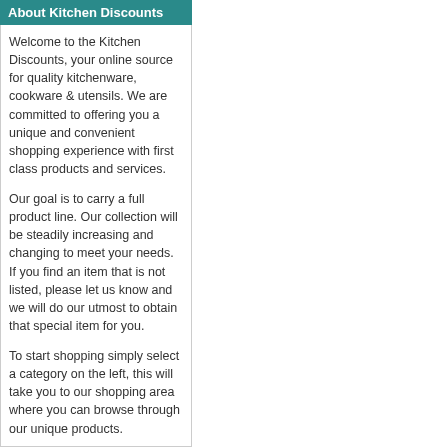About Kitchen Discounts
Welcome to the Kitchen Discounts, your online source for quality kitchenware, cookware & utensils. We are committed to offering you a unique and convenient shopping experience with first class products and services.

Our goal is to carry a full product line. Our collection will be steadily increasing and changing to meet your needs. If you find an item that is not listed, please let us know and we will do our utmost to obtain that special item for you.

To start shopping simply select a category on the left, this will take you to our shopping area where you can browse through our unique products.
Recent Blog Posts
New Kitchen Discounts Site Launched
Posted: 16 October 2009